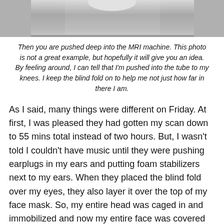[Figure (photo): Partial photo of an MRI machine interior, showing the tunnel/bore from a patient's perspective, cropped at the top of the page.]
Then you are pushed deep into the MRI machine. This photo is not a great example, but hopefully it will give you an idea. By feeling around, I can tell that I'm pushed into the tube to my knees. I keep the blind fold on to help me not just how far in there I am.
As I said, many things were different on Friday. At first, I was pleased they had gotten my scan down to 55 mins total instead of two hours. But, I wasn't told I couldn't have music until they were pushing earplugs in my ears and putting foam stabilizers next to my ears. When they placed the blind fold over my eyes, they also layer it over the top of my face mask. So, my entire head was caged in and immobilized and now my entire face was covered as well. They pushed me in without my panic button